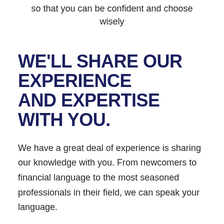so that you can be confident and choose wisely
WE'LL SHARE OUR EXPERIENCE AND EXPERTISE WITH YOU.
We have a great deal of experience is sharing our knowledge with you. From newcomers to financial language to the most seasoned professionals in their field, we can speak your language.
There are many reasons that financial topics remain a mystery.